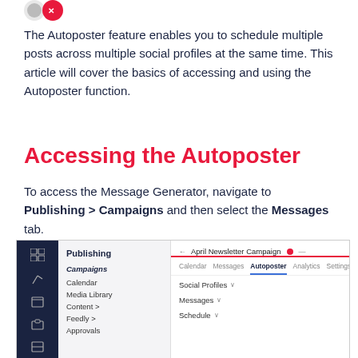[Figure (logo): Partial logo icon at top left]
The Autoposter feature enables you to schedule multiple posts across multiple social profiles at the same time. This article will cover the basics of accessing and using the Autoposter function.
Accessing the Autoposter
To access the Message Generator, navigate to Publishing > Campaigns and then select the Messages tab.
[Figure (screenshot): Screenshot of the publishing interface showing sidebar navigation with Publishing > Campaigns selected, and the main area showing April Newsletter Campaign with tabs: Calendar, Messages, Autoposter (active), Analytics, Settings. Below tabs are sections: Social Profiles, Messages, Schedule.]